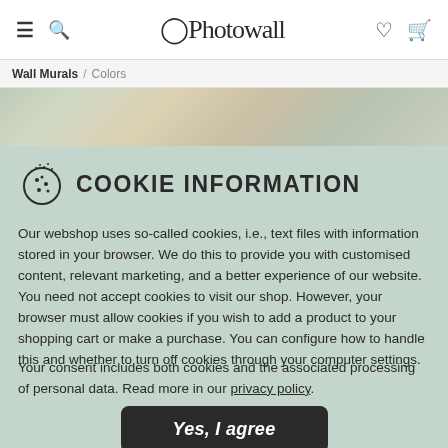Photowall — navigation header with hamburger, search, logo, wishlist, cart icons
Wall Murals / Colors
[Figure (photo): Decorative hero image strip showing a room with wall mural, rattan furniture and neutral tones]
COOKIE INFORMATION
Our webshop uses so-called cookies, i.e., text files with information stored in your browser. We do this to provide you with customised content, relevant marketing, and a better experience of our website. You need not accept cookies to visit our shop. However, your browser must allow cookies if you wish to add a product to your shopping cart or make a purchase. You can configure how to handle this and whether to turn off cookies through your computer settings.
Your consent includes both cookies and the associated processing of personal data. Read more in our privacy policy.
Yes, I agree